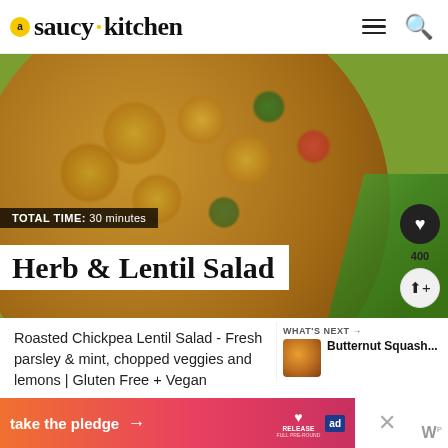a saucy kitchen
[Figure (photo): Overhead view of a wooden bowl filled with herb and lentil salad including chickpeas, chopped cucumber, radish, and herbs on a light blue surface with green leaves]
TOTAL TIME: 30 minutes
Herb & Lentil Salad
Roasted Chickpea Lentil Salad - Fresh parsley & mint, chopped veggies and lemons | Gluten Free + Vegan
WHAT'S NEXT → Butternut Squash...
[Figure (photo): Small thumbnail of butternut squash dish]
[Figure (infographic): take the pledge → RELEASE ad banner]